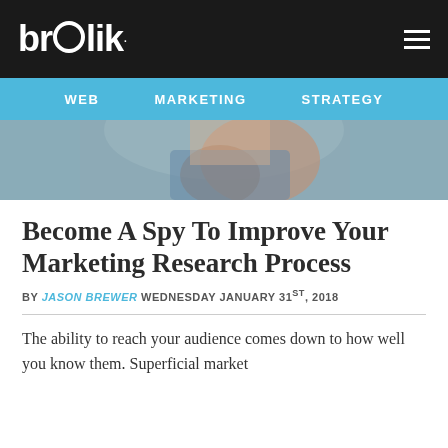brolik
WEB   MARKETING   STRATEGY
[Figure (photo): Close-up photo of a woman wearing a sparkly blue top, partial face/hands visible, blurred background]
Become A Spy To Improve Your Marketing Research Process
BY JASON BREWER WEDNESDAY JANUARY 31ST, 2018
The ability to reach your audience comes down to how well you know them. Superficial market